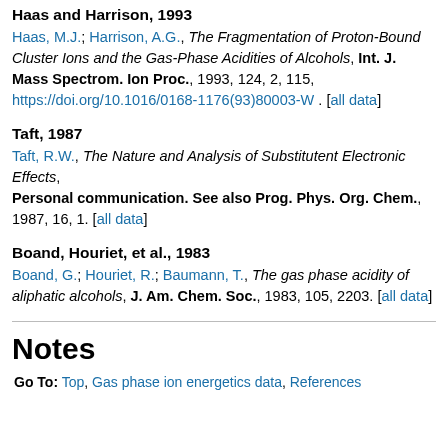Haas and Harrison, 1993
Haas, M.J.; Harrison, A.G., The Fragmentation of Proton-Bound Cluster Ions and the Gas-Phase Acidities of Alcohols, Int. J. Mass Spectrom. Ion Proc., 1993, 124, 2, 115, https://doi.org/10.1016/0168-1176(93)80003-W . [all data]
Taft, 1987
Taft, R.W., The Nature and Analysis of Substitutent Electronic Effects, Personal communication. See also Prog. Phys. Org. Chem., 1987, 16, 1. [all data]
Boand, Houriet, et al., 1983
Boand, G.; Houriet, R.; Baumann, T., The gas phase acidity of aliphatic alcohols, J. Am. Chem. Soc., 1983, 105, 2203. [all data]
Notes
Go To: Top, Gas phase ion energetics data, References